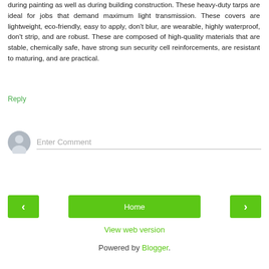during painting as well as during building construction. These heavy-duty tarps are ideal for jobs that demand maximum light transmission. These covers are lightweight, eco-friendly, easy to apply, don't blur, are wearable, highly waterproof, don't strip, and are robust. These are composed of high-quality materials that are stable, chemically safe, have strong sun security cell reinforcements, are resistant to maturing, and are practical.
Reply
[Figure (other): User avatar placeholder icon, grey circle with person silhouette]
Enter Comment
‹
Home
›
View web version
Powered by Blogger.